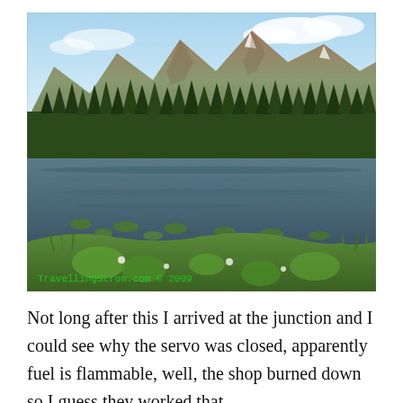[Figure (photo): Outdoor landscape photograph showing a calm pond or small lake with lily pads in the foreground, a dense forest of evergreen trees in the middle ground, and rugged mountains under a partly cloudy blue sky in the background. A green watermark reads 'TravellingStrom.com © 2009' in the lower left corner.]
Not long after this I arrived at the junction and I could see why the servo was closed, apparently fuel is flammable, well, the shop burned down so I guess they worked that